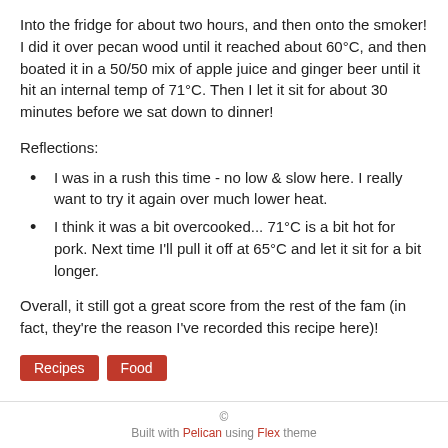Into the fridge for about two hours, and then onto the smoker! I did it over pecan wood until it reached about 60°C, and then boated it in a 50/50 mix of apple juice and ginger beer until it hit an internal temp of 71°C. Then I let it sit for about 30 minutes before we sat down to dinner!
Reflections:
I was in a rush this time - no low & slow here. I really want to try it again over much lower heat.
I think it was a bit overcooked... 71°C is a bit hot for pork. Next time I'll pull it off at 65°C and let it sit for a bit longer.
Overall, it still got a great score from the rest of the fam (in fact, they're the reason I've recorded this recipe here)!
Recipes   Food
© Built with Pelican using Flex theme